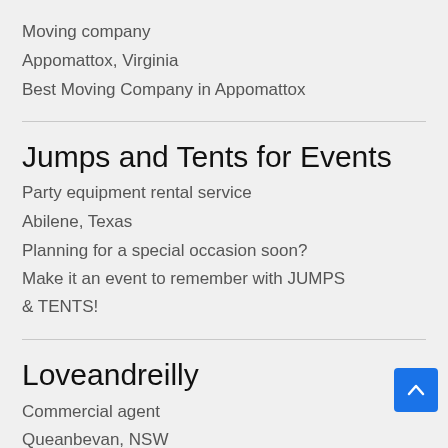Moving company
Appomattox, Virginia
Best Moving Company in Appomattox
Jumps and Tents for Events
Party equipment rental service
Abilene, Texas
Planning for a special occasion soon? Make it an event to remember with JUMPS & TENTS!
Loveandreilly
Commercial agent
Queanbevan, NSW